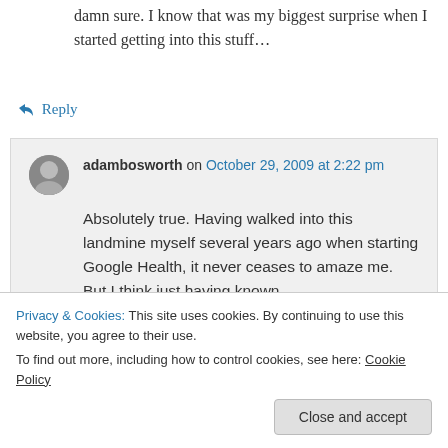darn sure. I know that was my biggest surprise when I started getting into this stuff…
↳ Reply
adambosworth on October 29, 2009 at 2:22 pm
Absolutely true. Having walked into this landmine myself several years ago when starting Google Health, it never ceases to amaze me. But I think just having known labs) and these are the best
Privacy & Cookies: This site uses cookies. By continuing to use this website, you agree to their use.
To find out more, including how to control cookies, see here: Cookie Policy